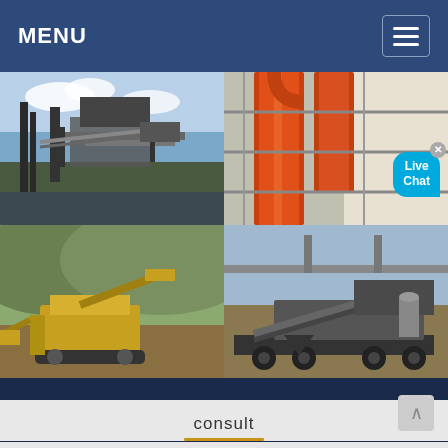MENU
[Figure (photo): Four-panel photo grid showing industrial crushing and mining equipment: top-left shows a large industrial plant/conveyor structure against a cloudy sky; top-right shows orange industrial pipes/cylinders on scaffolding; bottom-left shows yellow mobile jaw crusher equipment in a mountainous open pit; bottom-right shows a mobile screening/crushing plant on a truck chassis at a construction site. A 'Live Chat' bubble overlay appears on the top-right photo.]
Stellar concrete crushers For Constr
consult